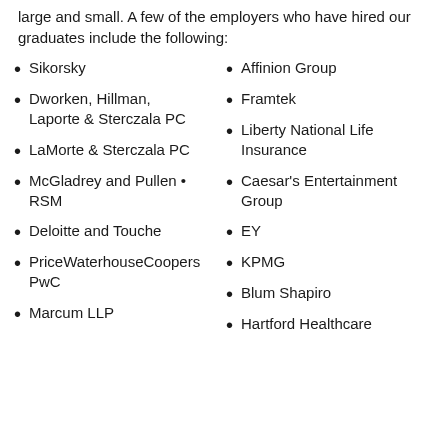large and small. A few of the employers who have hired our graduates include the following:
Sikorsky
Affinion Group
Dworken, Hillman, Laporte & Sterczala PC
Framtek
Liberty National Life Insurance
LaMorte & Sterczala PC
Caesar's Entertainment Group
McGladrey and Pullen • RSM
EY
Deloitte and Touche
KPMG
PriceWaterhouseCoopers PwC
Blum Shapiro
Marcum LLP
Hartford Healthcare